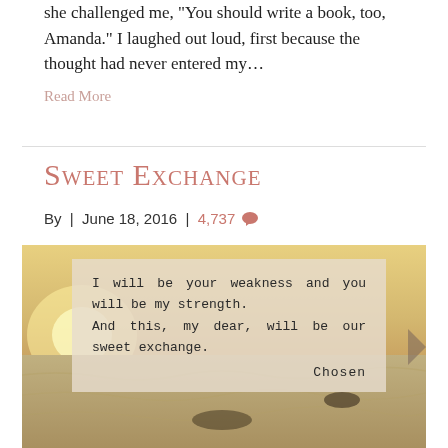she challenged me, "You should write a book, too, Amanda." I laughed out loud, first because the thought had never entered my…
Read More
Sweet Exchange
By | June 18, 2016 | 4,737
[Figure (photo): Beach sunset photo with quote overlay: 'I will be your weakness and you will be my strength. And this, my dear, will be our sweet exchange. CHOSEN']